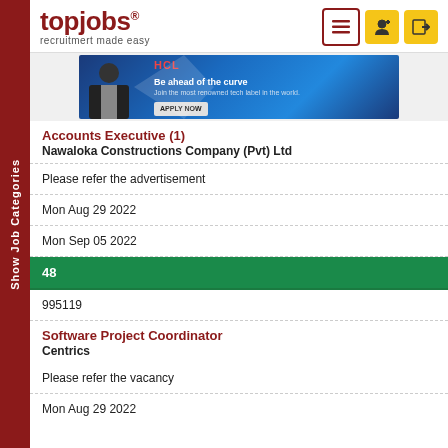[Figure (logo): topjobs logo with tagline 'recruitmert made easy']
[Figure (illustration): Banner advertisement with person and text 'Be ahead of the curve. Join the most renowned tech label in the world. APPLY NOW']
Accounts Executive (1)
Nawaloka Constructions Company (Pvt) Ltd
Please refer the advertisement
Mon Aug 29 2022
Mon Sep 05 2022
48
995119
Software Project Coordinator
Centrics
Please refer the vacancy
Mon Aug 29 2022